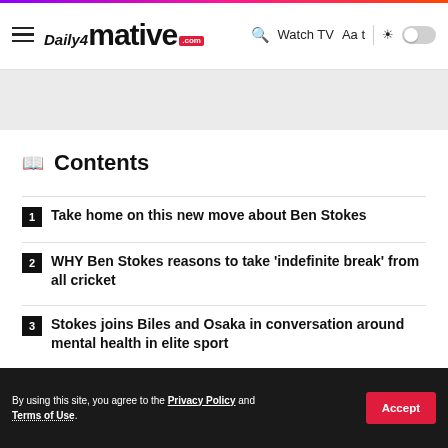Daily4mative.com | Watch TV | Aa t
📖 Contents
1 Take home on this new move about Ben Stokes
2 WHY Ben Stokes reasons to take 'indefinite break' from all cricket
3 Stokes joins Biles and Osaka in conversation around mental health in elite sport
W... et. Be... . Th... to
By using this site, you agree to the Privacy Policy and Terms of Use.